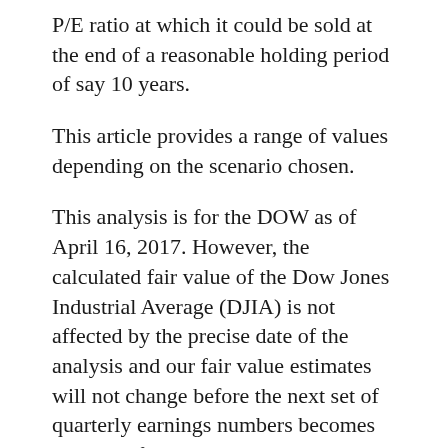P/E ratio at which it could be sold at the end of a reasonable holding period of say 10 years.
This article provides a range of values depending on the scenario chosen.
This analysis is for the DOW as of April 16, 2017. However, the calculated fair value of the Dow Jones Industrial Average (DJIA) is not affected by the precise date of the analysis and our fair value estimates will not change before the next set of quarterly earnings numbers becomes available for the DJIA. And even then, the fair value is not likely to change much.
To be notified when we next update this article, simply join the list for our (approximately) monthly free investment newsletter. If you don't find our newsletter valuable, every issue indicates how to get